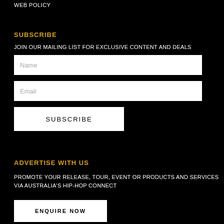WEB POLICY
SUBSCRIBE
JOIN OUR MAILING LIST FOR EXCLUSIVE CONTENT AND DEALS
Name
Email
SUBSCRIBE
ADVERTISE WITH US
PROMOTE YOUR RELEASE, TOUR, EVENT OR PRODUCTS AND SERVICES VIA AUSTRALIA'S HIP-HOP CONNECT
ENQUIRE NOW